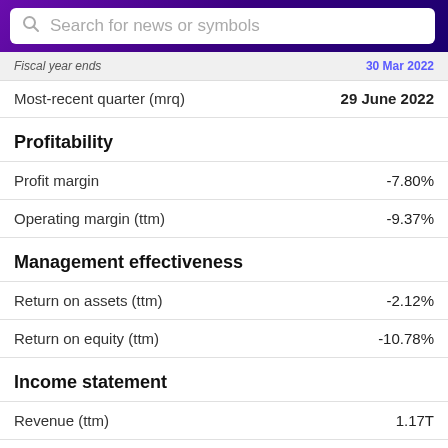Search for news or symbols
Fiscal year ends: 30 Mar 2022
Most-recent quarter (mrq): 29 June 2022
Profitability
Profit margin: -7.80%
Operating margin (ttm): -9.37%
Management effectiveness
Return on assets (ttm): -2.12%
Return on equity (ttm): -10.78%
Income statement
Revenue (ttm): 1.17T
Revenue per share (ttm): 498.29